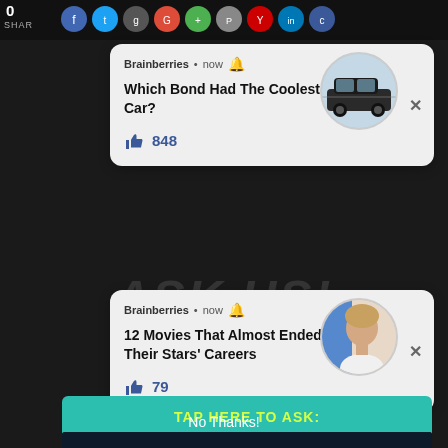0   SHARE
[Figure (screenshot): Social share icons row at top]
[Figure (screenshot): Brainberries notification card 1: Which Bond Had The Coolest Car? 848 likes, with circular car image]
Brainberries • now
Which Bond Had The Coolest Car?
848
[Figure (screenshot): Brainberries notification card 2: 12 Movies That Almost Ended Their Stars' Careers, 79 likes, with circular person image]
Brainberries • now
12 Movies That Almost Ended Their Stars' Careers
79
TAP HERE TO ASK:
No Thanks!